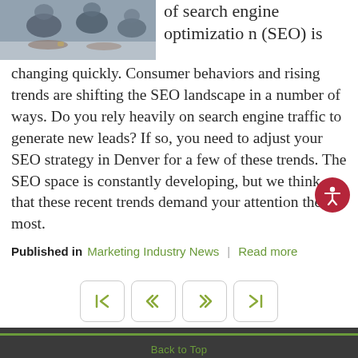[Figure (photo): People sitting at a conference table in a meeting, shot from above/side angle, grayscale-ish tone.]
of search engine optimization (SEO) is changing quickly. Consumer behaviors and rising trends are shifting the SEO landscape in a number of ways. Do you rely heavily on search engine traffic to generate new leads? If so, you need to adjust your SEO strategy in Denver for a few of these trends. The SEO space is constantly developing, but we think that these recent trends demand your attention the most.
Published in  Marketing Industry News  |  Read more
Page 1 of 3
Back to Top